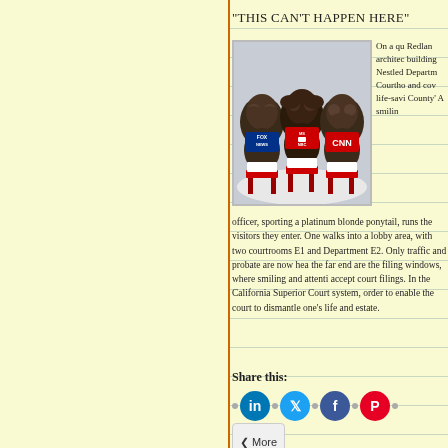“THIS CAN’T HAPPEN HERE”
[Figure (photo): Three chimpanzees posed as the 'three wise monkeys' (see no evil, hear no evil, speak no evil), each holding a sign for Fox News, MSNBC, and CNN respectively, sitting on red chairs.]
On a qu Redland architec building Nestled Departm Courtho and cov life-sav County' A smilin officer, sporting a platinum blonde ponytail, runs the visitors they enter. One walks into a lobby area, with two courtrooms E1 and Department E2. Only traffic and probate are now hea the far end are the filing windows, where smiling and attenti accept court filings. In the California Superior Court system, order to enable the court to dismantle one’s life and estate.
Share this:
[Figure (other): Social sharing buttons: LinkedIn, Twitter, Facebook, Pinterest, and a More button]